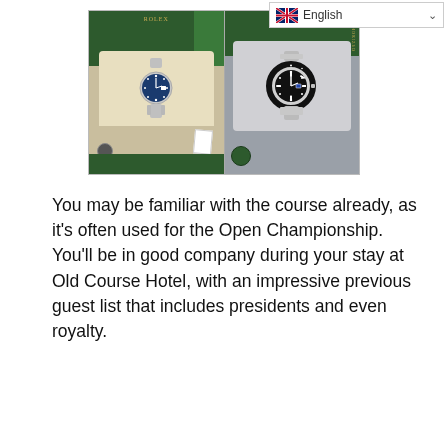[Figure (photo): Two Rolex watches displayed in green presentation boxes. Left image shows a Rolex with a blue dial on a cream cushion with paperwork. Right image shows a Rolex Submariner with a black dial on a grey cushion.]
You may be familiar with the course already, as it's often used for the Open Championship. You'll be in good company during your stay at Old Course Hotel, with an impressive previous guest list that includes presidents and even royalty.